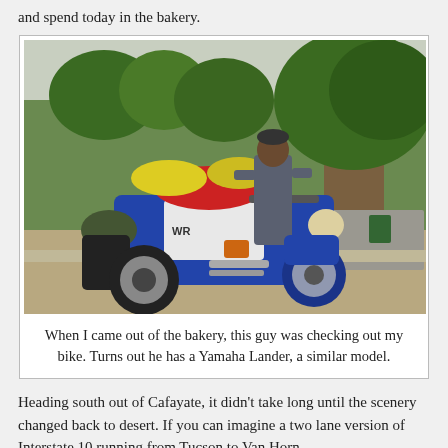and spend today in the bakery.
[Figure (photo): A loaded adventure motorcycle (blue and white, resembling a Yamaha) parked near a tree on a street, with yellow and red luggage bags strapped to it. A man in grey clothing stands behind the bike. There are green trees and a road visible in the background.]
When I came out of the bakery, this guy was checking out my bike. Turns out he has a Yamaha Lander, a similar model.
Heading south out of Cafayate, it didn't take long until the scenery changed back to desert. If you can imagine a two lane version of Interstate 10 running from Tucson to Van Horn